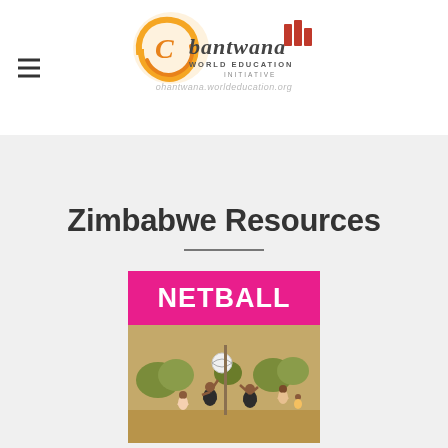[Figure (logo): Bantwana World Education Initiative logo with orange circular mark and text, with hamburger menu icon on the left and URL text below]
Zimbabwe Resources
[Figure (photo): Netball resource card with hot pink banner reading NETBALL and a photo of children playing netball outdoors]